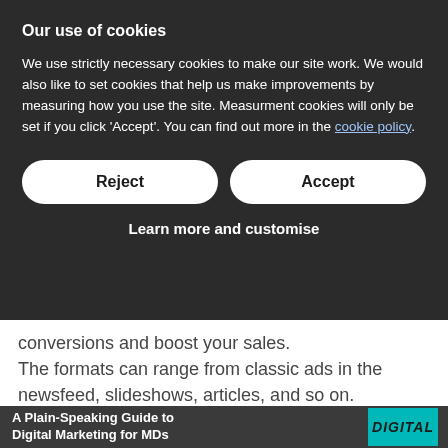Our use of cookies
We use strictly necessary cookies to make our site work. We would also like to set cookies that help us make improvements by measuring how you use the site. Measurment cookies will only be set if you click 'Accept'. You can find out more in the cookie policy.
Reject
Accept
Learn more and customise
conversions and boost your sales. The formats can range from classic ads in the newsfeed, slideshows, articles, and so on. Promote the kind of content your audience responds to.
A Plain-Speaking Guide to Digital Marketing for MDs